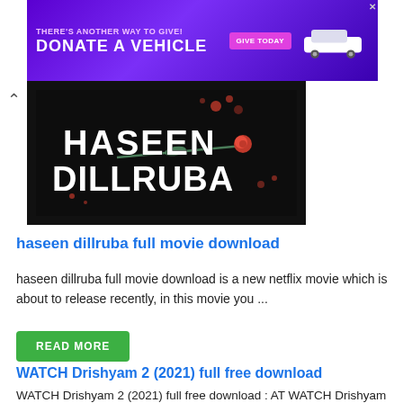[Figure (photo): Purple advertisement banner: THERE'S ANOTHER WAY TO GIVE! DONATE A VEHICLE with GIVE TODAY button and car image]
[Figure (photo): Movie poster for Haseen Dillruba on dark background with roses]
haseen dillruba full movie download
haseen dillruba full movie download is a new netflix movie which is about to release recently, in this movie you ...
READ MORE
WATCH Drishyam 2 (2021) full free download
WATCH Drishyam 2 (2021) full free download : AT WATCH Drishyam 2 (2021): Full Movie Online FreeDrishyam 2 2021